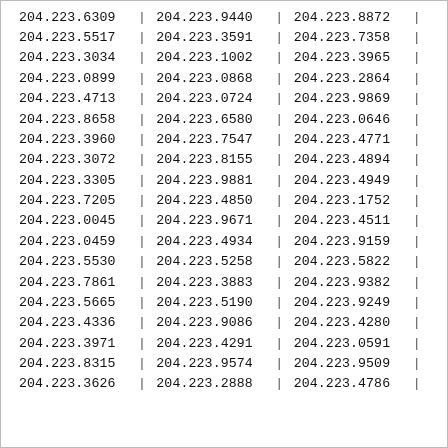| 204.223.6309 | | | 204.223.9440 | | | 204.223.8872 | | |
| 204.223.5517 | | | 204.223.3591 | | | 204.223.7358 | | |
| 204.223.3034 | | | 204.223.1002 | | | 204.223.3965 | | |
| 204.223.0899 | | | 204.223.0868 | | | 204.223.2864 | | |
| 204.223.4713 | | | 204.223.0724 | | | 204.223.9869 | | |
| 204.223.8658 | | | 204.223.6580 | | | 204.223.0646 | | |
| 204.223.3960 | | | 204.223.7547 | | | 204.223.4771 | | |
| 204.223.3072 | | | 204.223.8155 | | | 204.223.4894 | | |
| 204.223.3305 | | | 204.223.9881 | | | 204.223.4949 | | |
| 204.223.7205 | | | 204.223.4850 | | | 204.223.1752 | | |
| 204.223.0045 | | | 204.223.9671 | | | 204.223.4511 | | |
| 204.223.0459 | | | 204.223.4934 | | | 204.223.9159 | | |
| 204.223.5530 | | | 204.223.5258 | | | 204.223.5822 | | |
| 204.223.7861 | | | 204.223.3883 | | | 204.223.9382 | | |
| 204.223.5665 | | | 204.223.5190 | | | 204.223.9249 | | |
| 204.223.4336 | | | 204.223.9086 | | | 204.223.4280 | | |
| 204.223.3971 | | | 204.223.4291 | | | 204.223.0591 | | |
| 204.223.8315 | | | 204.223.9574 | | | 204.223.9509 | | |
| 204.223.3626 | | | 204.223.2888 | | | 204.223.4786 | | |